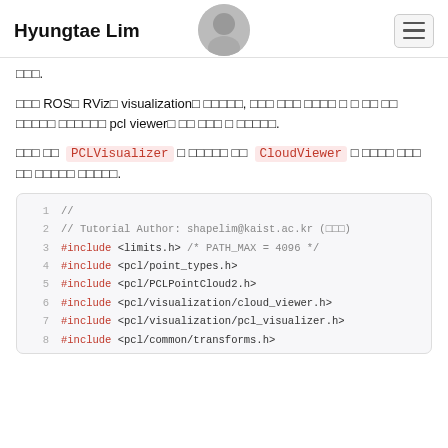Hyungtae Lim
□□□.
□□□ ROS□ RViz□ visualization□ □□□□□, □□□ □□□ □□□□ □ □ □□ □□ □□□□□ □□□□□□ pcl viewer□ □□ □□□ □ □□□□□.
□□□ □□  PCLVisualizer □ □□□□□ □□  CloudViewer □ □□□□ □□□ □□ □□□□□ □□□□□.
// Tutorial Author: shapelim@kaist.ac.kr (□□□)
#include <limits.h> /* PATH_MAX = 4096 */
#include <pcl/point_types.h>
#include <pcl/PCLPointCloud2.h>
#include <pcl/visualization/cloud_viewer.h>
#include <pcl/visualization/pcl_visualizer.h>
#include <pcl/common/transforms.h>